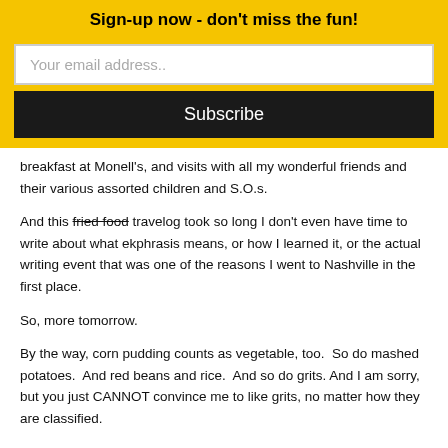Sign-up now - don't miss the fun!
Your email address..
Subscribe
breakfast at Monell's, and visits with all my wonderful friends and their various assorted children and S.O.s.
And this fried food travelog took so long I don't even have time to write about what ekphrasis means, or how I learned it, or the actual writing event that was one of the reasons I went to Nashville in the first place.
So, more tomorrow.
By the way, corn pudding counts as vegetable, too.  So do mashed potatoes.  And red beans and rice.  And so do grits. And I am sorry, but you just CANNOT convince me to like grits, no matter how they are classified.